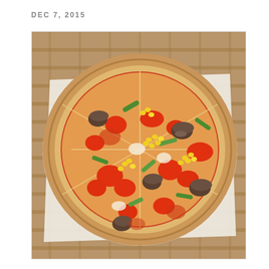DEC 7, 2015
[Figure (photo): Top-down view of a vegetable pizza with tomatoes, corn, green peppers, mushrooms, and onions on a white paper, placed in a wicker basket.]